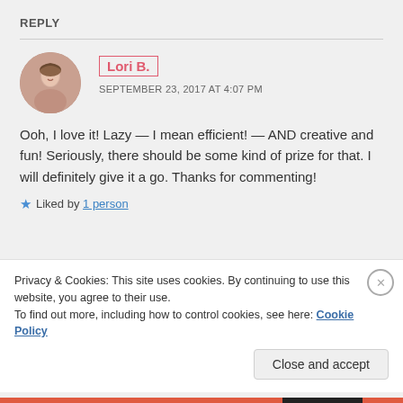REPLY
Lori B. — SEPTEMBER 23, 2017 AT 4:07 PM
Ooh, I love it! Lazy — I mean efficient! — AND creative and fun! Seriously, there should be some kind of prize for that. I will definitely give it a go. Thanks for commenting!
★ Liked by 1 person
Privacy & Cookies: This site uses cookies. By continuing to use this website, you agree to their use.
To find out more, including how to control cookies, see here: Cookie Policy
Close and accept